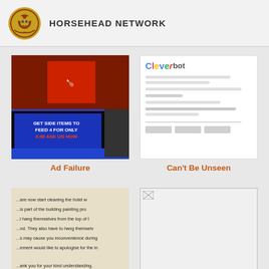HORSEHEAD NETWORK
Ad Failure
Can't Be Unseen
Chairman LOL
Creepy Cover
[Figure (photo): Photo of KFC advertisement sign reading GET SIDE ITEMS TO FEED 4 FOR ONLY 0.00 ASK US HOW]
[Figure (screenshot): Screenshot of Cleverbot website interface]
[Figure (photo): Photo of hotel notice text about cleaning and building painting process]
[Figure (photo): Image placeholder for Creepy Cover]
[Figure (photo): Photo of protest signs reading NOT MY WEALTH, CRISIS OF COMPETENCE, OBAMA]
[Figure (photo): Photo of outdoor sports event with crowd watching]